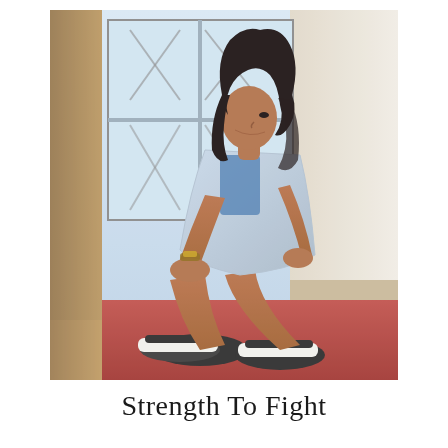[Figure (photo): A young woman with long dark curly hair sits on the floor in a corner by a window, wearing a denim jacket and sneakers, hugging her knees and looking out the window thoughtfully. The floor is red and the light is natural from the window.]
Strength To Fight